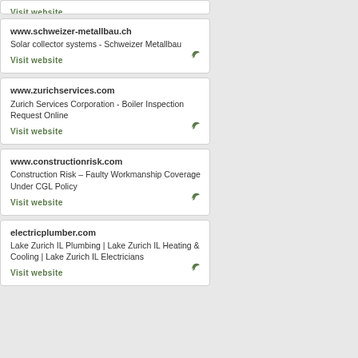Visit website
www.schweizer-metallbau.ch
Solar collector systems - Schweizer Metallbau
Visit website
www.zurichservices.com
Zurich Services Corporation - Boiler Inspection Request Online
Visit website
www.constructionrisk.com
Construction Risk – Faulty Workmanship Coverage Under CGL Policy
Visit website
electricplumber.com
Lake Zurich IL Plumbing | Lake Zurich IL Heating & Cooling | Lake Zurich IL Electricians
Visit website